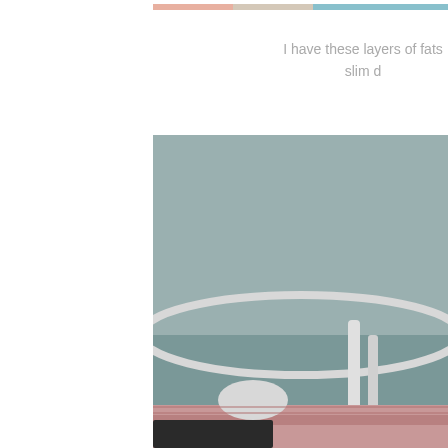[Figure (photo): Partial cropped photo strip at top right, showing skin/body tones with blue and peach colors]
I have these layers of fats slim d
[Figure (photo): Photo of a room with blue-grey wall, a white bed frame with a patterned quilt/bedding visible at the bottom]